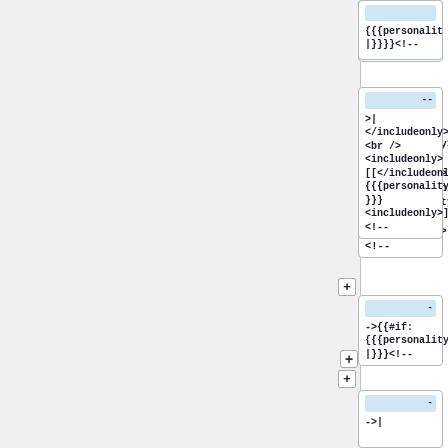[Figure (screenshot): Partial code/template card at top showing '{{{personality17|}}}<!--']
[Figure (screenshot): Code/template card with expand button showing '--  >| </includeonly>, <br /> <includeonly> [[</includeonly> {{{personality17}}} <includeonly>]] <includeonly>]] <!--']
[Figure (screenshot): Code/template card with expand button showing '-  ->{{#if: {{{personality18|}}}<!--']
[Figure (screenshot): Partial code/template card at bottom showing '-  ->|']